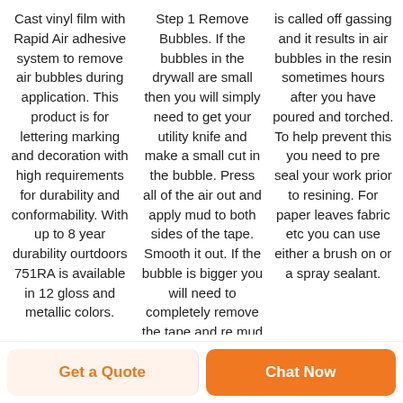Cast vinyl film with Rapid Air adhesive system to remove air bubbles during application. This product is for lettering marking and decoration with high requirements for durability and conformability. With up to 8 year durability ourtdoors 751RA is available in 12 gloss and metallic colors.
Step 1 Remove Bubbles. If the bubbles in the drywall are small then you will simply need to get your utility knife and make a small cut in the bubble. Press all of the air out and apply mud to both sides of the tape. Smooth it out. If the bubble is bigger you will need to completely remove the tape and re mud the
is called off gassing and it results in air bubbles in the resin sometimes hours after you have poured and torched. To help prevent this you need to pre seal your work prior to resining. For paper leaves fabric etc you can use either a brush on or a spray sealant.
Get a Quote
Chat Now